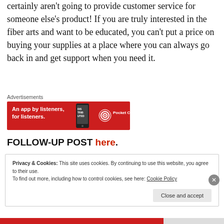certainly aren't going to provide customer service for someone else's product! If you are truly interested in the fiber arts and want to be educated, you can't put a price on buying your supplies at a place where you can always go back in and get support when you need it.
[Figure (infographic): Advertisement banner for Pocket Casts app. Red background with text 'An app by listeners, for listeners.' and Pocket Casts logo on right.]
FOLLOW-UP POST here.
Privacy & Cookies: This site uses cookies. By continuing to use this website, you agree to their use. To find out more, including how to control cookies, see here: Cookie Policy
Close and accept